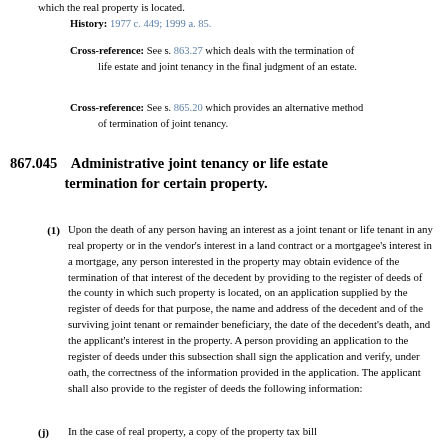which the real property is located.
History: 1977 c. 449; 1999 a. 85.
Cross-reference: See s. 863.27 which deals with the termination of life estate and joint tenancy in the final judgment of an estate.
Cross-reference: See s. 865.20 which provides an alternative method of termination of joint tenancy.
867.045  Administrative joint tenancy or life estate termination for certain property.
(1) Upon the death of any person having an interest as a joint tenant or life tenant in any real property or in the vendor's interest in a land contract or a mortgagee's interest in a mortgage, any person interested in the property may obtain evidence of the termination of that interest of the decedent by providing to the register of deeds of the county in which such property is located, on an application supplied by the register of deeds for that purpose, the name and address of the decedent and of the surviving joint tenant or remainder beneficiary, the date of the decedent's death, and the applicant's interest in the property. A person providing an application to the register of deeds under this subsection shall sign the application and verify, under oath, the correctness of the information provided in the application. The applicant shall also provide to the register of deeds the following information:
(j) In the case of real property, a copy of the property tax bill